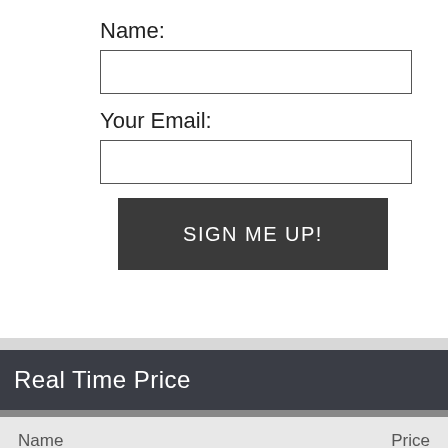Name:
[Figure (other): Empty text input box for Name field]
Your Email:
[Figure (other): Empty text input box for Your Email field]
SIGN ME UP!
Real Time Price
| Name | Price |
| --- | --- |
(BTC) $23,423.00   Ethereum(ETH) $1,876.36   XRP(XRP) $0...